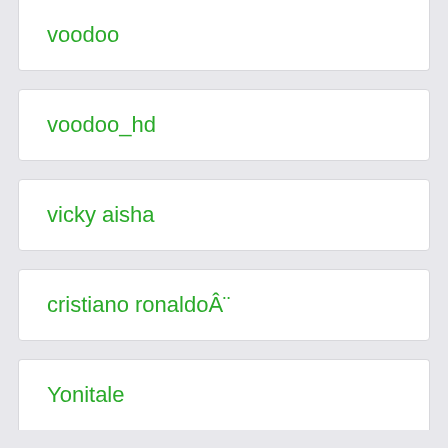voodoo
voodoo_hd
vicky aisha
cristiano ronaldoÂ¨
Yonitale